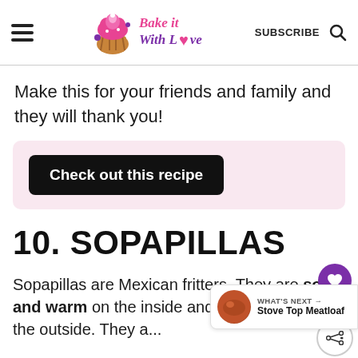Bake it With Love | SUBSCRIBE
Make this for your friends and family and they will thank you!
Check out this recipe
10. SOPAPILLAS
Sopapillas are Mexican fritters. They are soft and warm on the inside and golden brown on the outside. They a...